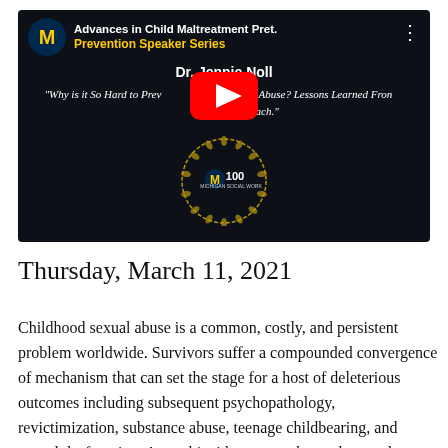[Figure (screenshot): YouTube video thumbnail for 'Advances in Child Maltreatment Prevention Speaker Series' featuring Dr. Jennie Noll. Dark background with University of Michigan logo, yellow play button overlay, title text in white and gold, speaker name, italic quote about childhood sexual abuse prevention, and Michigan Social Work 100th anniversary badge.]
Thursday, March 11, 2021
Childhood sexual abuse is a common, costly, and persistent problem worldwide. Survivors suffer a compounded convergence of mechanism that can set the stage for a host of deleterious outcomes including subsequent psychopathology, revictimization, substance abuse, teenage childbearing, and sexual dysfunction. Annual incidence rates have plateaued over the past few decades